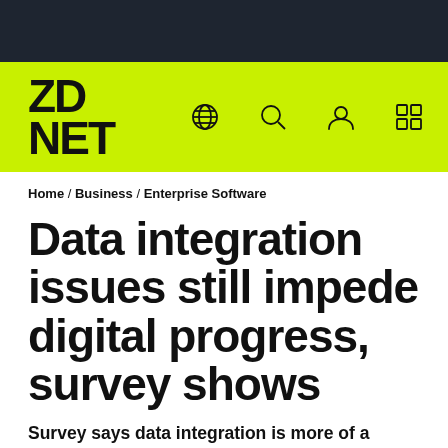ZD NET
Home / Business / Enterprise Software
Data integration issues still impede digital progress, survey shows
Survey says data integration is more of a struggle than ever. Standards to the rescue?